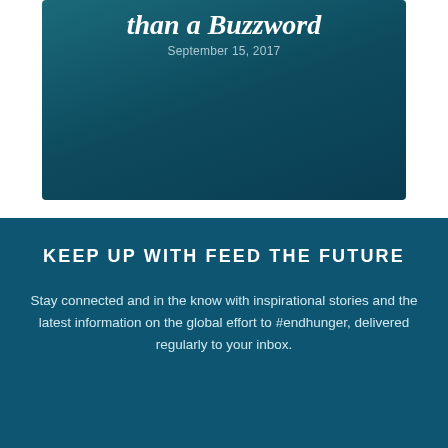than a Buzzword
September 15, 2017
KEEP UP WITH FEED THE FUTURE
Stay connected and in the know with inspirational stories and the latest information on the global effort to #endhunger, delivered regularly to your inbox.